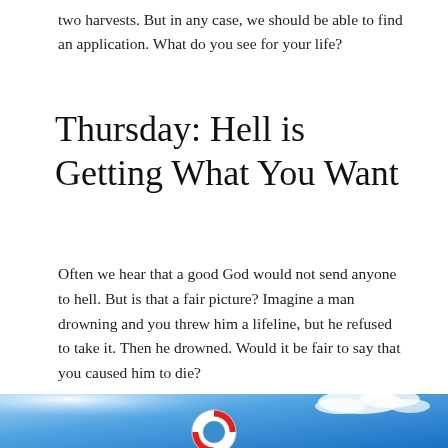two harvests. But in any case, we should be able to find an application. What do you see for your life?
Thursday: Hell is Getting What You Want
Often we hear that a good God would not send anyone to hell. But is that a fair picture? Imagine a man drowning and you threw him a lifeline, but he refused to take it. Then he drowned. Would it be fair to say that you caused him to die?
[Figure (photo): A red and white life preserver ring floating against a bright blue sky with white clouds]